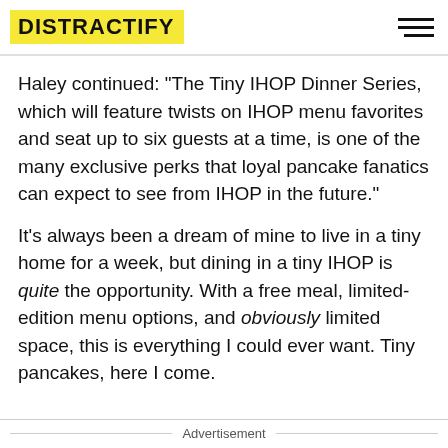DISTRACTIFY
Haley continued: "The Tiny IHOP Dinner Series, which will feature twists on IHOP menu favorites and seat up to six guests at a time, is one of the many exclusive perks that loyal pancake fanatics can expect to see from IHOP in the future."
It's always been a dream of mine to live in a tiny home for a week, but dining in a tiny IHOP is quite the opportunity. With a free meal, limited-edition menu options, and obviously limited space, this is everything I could ever want. Tiny pancakes, here I come.
Advertisement